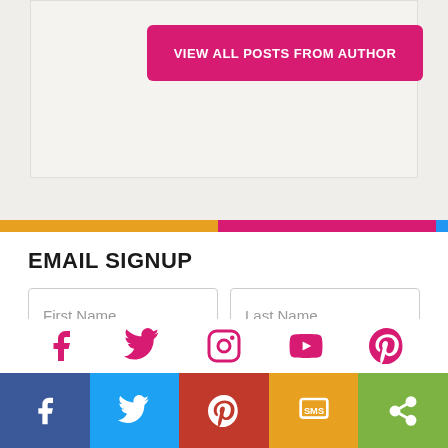[Figure (screenshot): Pink button labeled VIEW ALL POSTS FROM AUTHOR inside a light gray card]
[Figure (infographic): Horizontal color bar with orange, pink, and blue segments]
EMAIL SIGNUP
[Figure (screenshot): Email signup form with First Name, Last Name, Email Address fields and a pink SIGNUP button]
[Figure (infographic): Social media icons row: Facebook, Twitter, Instagram, YouTube, Pinterest]
[Figure (infographic): Bottom share bar with Facebook, Twitter, Pinterest, SMS, and share buttons]